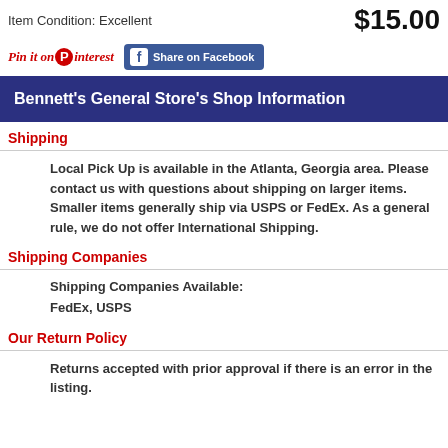Item Condition: Excellent
$15.00
[Figure (logo): Pin it on Pinterest button and Share on Facebook button]
Bennett's General Store's Shop Information
Shipping
Local Pick Up is available in the Atlanta, Georgia area. Please contact us with questions about shipping on larger items. Smaller items generally ship via USPS or FedEx. As a general rule, we do not offer International Shipping.
Shipping Companies
Shipping Companies Available:
FedEx, USPS
Our Return Policy
Returns accepted with prior approval if there is an error in the listing.